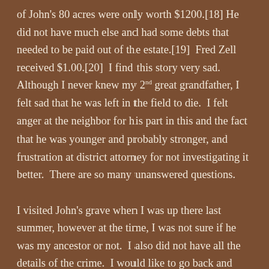of John's 80 acres were only worth $1200.[18] He did not have much else and had some debts that needed to be paid out of the estate.[19]  Fred Zell received $1.00.[20]  I find this story very sad.  Although I never knew my 2nd great grandfather, I felt sad that he was left in the field to die.  I felt anger at the neighbor for his part in this and the fact that he was younger and probably stronger, and frustration at district attorney for not investigating it better.  There are so many unanswered questions.

I visited John's grave when I was up there last summer, however at the time, I was not sure if he was my ancestor or not.  I also did not have all the details of the crime.  I would like to go back and visit his grave again and take some flowers.  I want him to know that someone cares.  That I care!